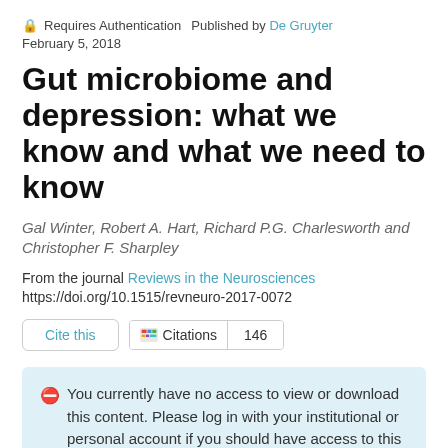Requires Authentication  Published by De Gruyter
February 5, 2018
Gut microbiome and depression: what we know and what we need to know
Gal Winter, Robert A. Hart, Richard P.G. Charlesworth and Christopher F. Sharpley
From the journal Reviews in the Neurosciences
https://doi.org/10.1515/revneuro-2017-0072
Cite this   Citations  146
You currently have no access to view or download this content. Please log in with your institutional or personal account if you should have access to this content through either of these. Showing a limited